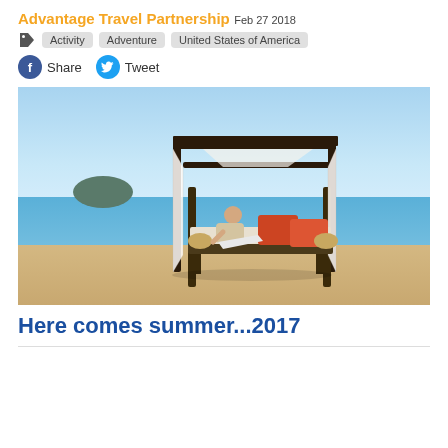Advantage Travel Partnership
Feb 27 2018
Activity   Adventure   United States of America
Share   Tweet
[Figure (photo): Woman relaxing on a canopied outdoor daybed on a sandy beach with blue ocean and small island in background, red and orange cushions visible]
Here comes summer...2017